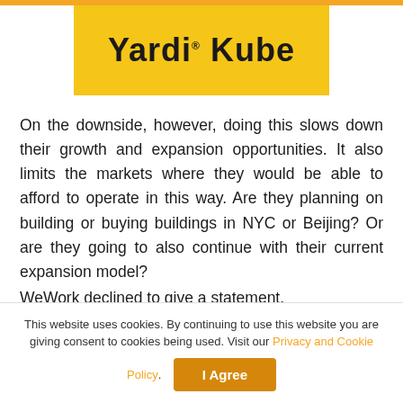[Figure (logo): Yardi Kube logo on yellow/gold background]
On the downside, however, doing this slows down their growth and expansion opportunities. It also limits the markets where they would be able to afford to operate in this way. Are they planning on building or buying buildings in NYC or Beijing? Or are they going to also continue with their current expansion model?
WeWork declined to give a statement.
What do you think are WeWork's reasons behind this 'strategic' move? Have they found a new sweet
This website uses cookies. By continuing to use this website you are giving consent to cookies being used. Visit our Privacy and Cookie Policy.
I Agree